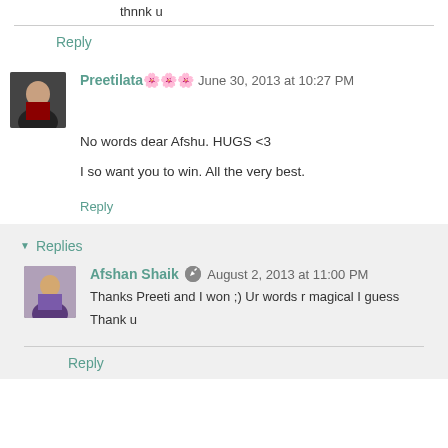thnnk u
Reply
Preetilata🌸🌸🌸  June 30, 2013 at 10:27 PM
No words dear Afshu. HUGS <3

I so want you to win. All the very best.
Reply
Replies
Afshan Shaik  August 2, 2013 at 11:00 PM
Thanks Preeti and I won ;) Ur words r magical I guess
Thank u
Reply